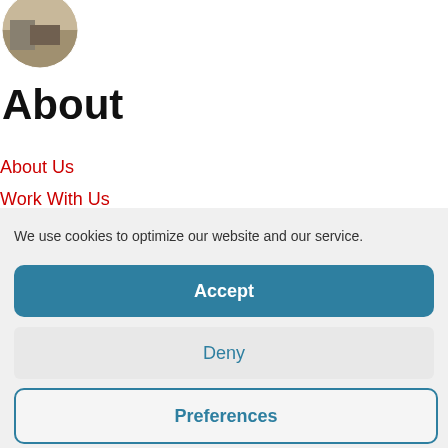[Figure (photo): Circular cropped photo of a historical scene with machinery, partially visible at top-left corner]
About
About Us
Work With Us
Contact
We use cookies to optimize our website and our service.
Accept
Deny
Preferences